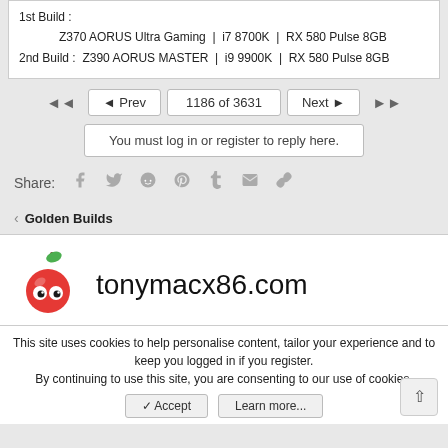1st Build : Z370 AORUS Ultra Gaming | i7 8700K | RX 580 Pulse 8GB
2nd Build : Z390 AORUS MASTER | i9 9900K | RX 580 Pulse 8GB
◄◄  ◄ Prev  1186 of 3631  Next ►  ►►
You must log in or register to reply here.
Share:
< Golden Builds
[Figure (logo): tonymacx86.com logo with apple icon]
This site uses cookies to help personalise content, tailor your experience and to keep you logged in if you register.
By continuing to use this site, you are consenting to our use of cookies.
✓ Accept   Learn more...